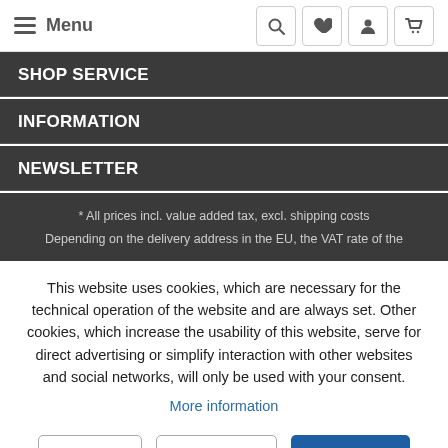Menu
SHOP SERVICE
INFORMATION
NEWSLETTER
* All prices incl. value added tax, excl. shipping costs
Depending on the delivery address in the EU, the VAT rate of the
This website uses cookies, which are necessary for the technical operation of the website and are always set. Other cookies, which increase the usability of this website, serve for direct advertising or simplify interaction with other websites and social networks, will only be used with your consent.
More information
Decline | Accept all | Configure